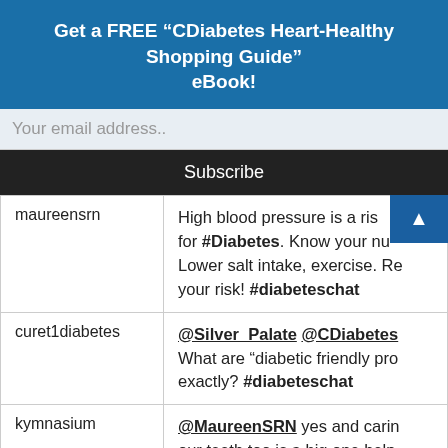Get a FREE “CDiabetes Heart-Healthy Shopping Guide” eBook!
Your email address..
Subscribe
| username | tweet |
| --- | --- |
| maureensrn | High blood pressure is a ris... for #Diabetes. Know your nu... Lower salt intake, exercise. Re... your risk! #diabeteschat |
| curet1diabetes | @Silver_Palate @CDiabetes What are “diabetic friendly pro... exactly? #diabeteschat |
| kymnasium | @MaureenSRN yes and carin... our teeth too is a big one help... around big healthy smiles. @CDiabetesInfo @dietexpe... |